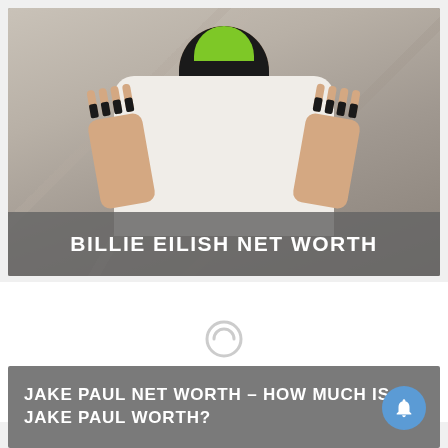[Figure (photo): Photo of Billie Eilish at an event, wearing a white Chanel coat with green-tipped black hair, hands raised showing long black nails with text written on palms. Image has a banner overlay reading BILLIE EILISH NET WORTH.]
BILLIE EILISH NET WORTH
[Figure (infographic): Loading spinner with text 'Loading...' below it on a white background]
Loading...
JAKE PAUL NET WORTH – HOW MUCH IS JAKE PAUL WORTH?